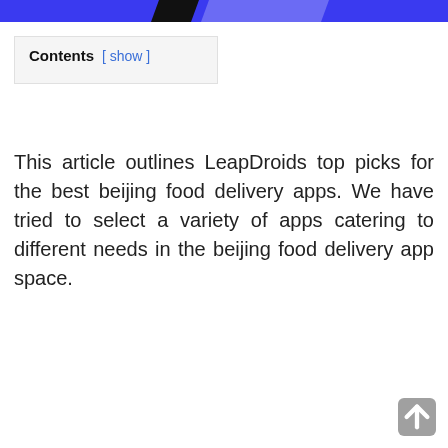Contents [ show ]
This article outlines LeapDroids top picks for the best beijing food delivery apps. We have tried to select a variety of apps catering to different needs in the beijing food delivery app space.